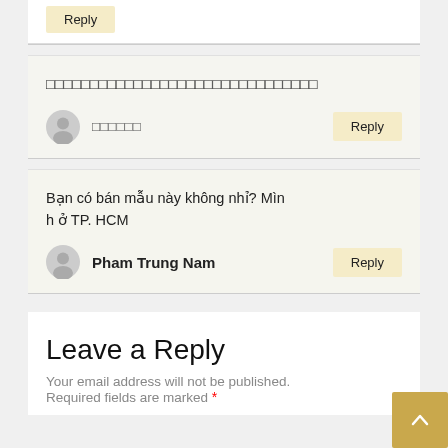Reply
□□□□□□□□□□□□□□□□□□□□□□□□□□□□□□□
□□□□□□
Reply
Bạn có bán mẫu này không nhỉ? Mình ở TP. HCM
Pham Trung Nam
Reply
Leave a Reply
Your email address will not be published.
Required fields are marked *